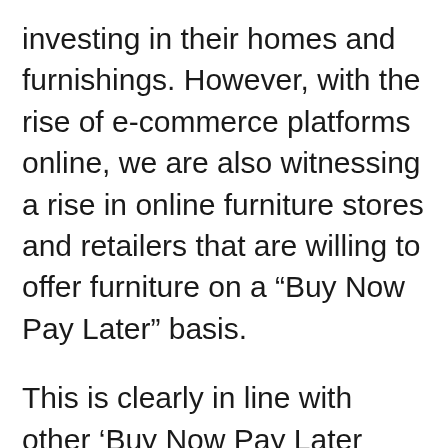investing in their homes and furnishings. However, with the rise of e-commerce platforms online, we are also witnessing a rise in online furniture stores and retailers that are willing to offer furniture on a “Buy Now Pay Later” basis.
This is clearly in line with other ‘Buy Now Pay Later payment options being offered by e-commerce platforms on all other kinds of products. Applying the same concept to furniture purchases, furniture retailers have introduced no credit check furniture